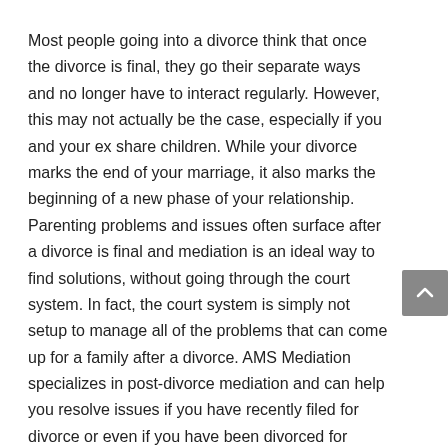Most people going into a divorce think that once the divorce is final, they go their separate ways and no longer have to interact regularly. However, this may not actually be the case, especially if you and your ex share children. While your divorce marks the end of your marriage, it also marks the beginning of a new phase of your relationship. Parenting problems and issues often surface after a divorce is final and mediation is an ideal way to find solutions, without going through the court system. In fact, the court system is simply not setup to manage all of the problems that can come up for a family after a divorce. AMS Mediation specializes in post-divorce mediation and can help you resolve issues if you have recently filed for divorce or even if you have been divorced for years.
Benefits of Post-Divorce Mediation
If you and your ex-spouse had children together, you are